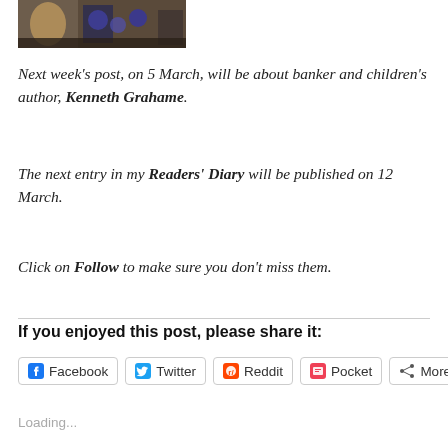[Figure (photo): Cropped photo showing a person on stage with instruments/orchestra in background]
Next week's post, on 5 March, will be about banker and children's author, Kenneth Grahame.
The next entry in my Readers' Diary will be published on 12 March.
Click on Follow to make sure you don't miss them.
If you enjoyed this post, please share it:
[Figure (screenshot): Social share buttons: Facebook, Twitter, Reddit, Pocket, More]
Loading...